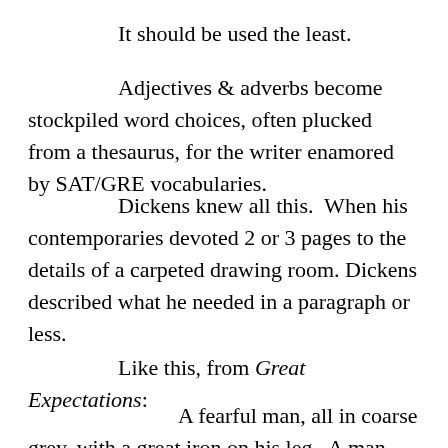It should be used the least.
Adjectives & adverbs become stockpiled word choices, often plucked from a thesaurus, for the writer enamored by SAT/GRE vocabularies.
Dickens knew all this.  When his contemporaries devoted 2 or 3 pages to the details of a carpeted drawing room. Dickens described what he needed in a paragraph or less.
Like this, from Great Expectations:
A fearful man, all in coarse grey, with a great iron on his leg.  A man with